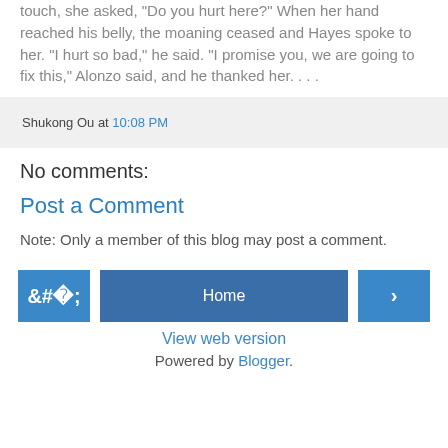over his chest, his abdomen, his arms and legs. With each touch, she asked, “Do you hurt here?” When her hand reached his belly, the moaning ceased and Hayes spoke to her. “I hurt so bad,” he said. “I promise you, we are going to fix this,” Alonzo said, and he thanked her. . . .
Shukong Ou at 10:08 PM
No comments:
Post a Comment
Note: Only a member of this blog may post a comment.
Home
View web version
Powered by Blogger.